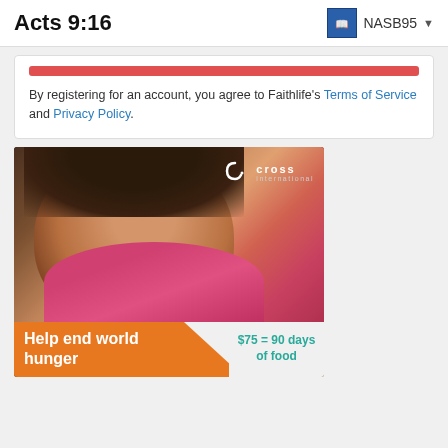Acts 9:16  NASB95
By registering for an account, you agree to Faithlife’s Terms of Service and Privacy Policy.
[Figure (photo): Cross International advertisement showing a smiling young girl in a pink shirt with text 'Help end world hunger' and '$75 = 90 days of food']